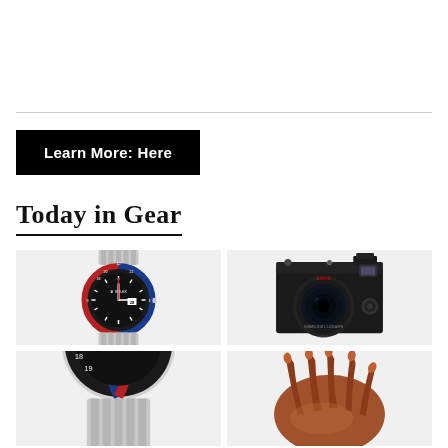Learn More: Here
Today in Gear
[Figure (photo): Rolex GMT-Master II watch with blue and red bezel (Pepsi) and jubilee bracelet, showing dial with date at 28]
[Figure (photo): Leica M10-D black rangefinder camera, front view showing lens and body details]
[Figure (photo): Brown leather or wooden object, partially visible, bottom right grid cell]